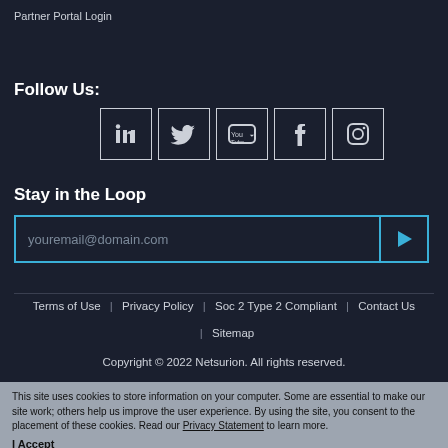Partner Portal Login
Follow Us:
[Figure (other): Five social media icon buttons in bordered squares: LinkedIn, Twitter, YouTube, Facebook, Instagram]
Stay in the Loop
[Figure (other): Email input field with placeholder 'youremail@domain.com' and a blue submit button with a play/arrow icon]
Terms of Use | Privacy Policy | Soc 2 Type 2 Compliant | Contact Us | Sitemap
Copyright © 2022 Netsurion. All rights reserved.
This site uses cookies to store information on your computer. Some are essential to make our site work; others help us improve the user experience. By using the site, you consent to the placement of these cookies. Read our Privacy Statement to learn more.
I Accept